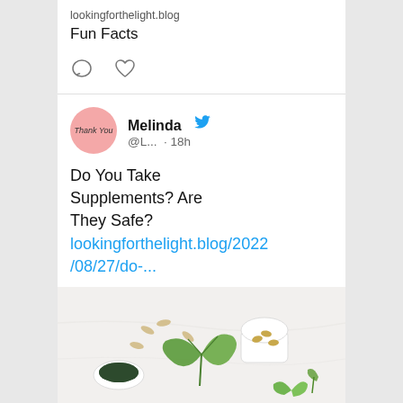lookingforthelight.blog
Fun Facts
[Figure (infographic): Comment and heart action icons]
Melinda @L... · 18h
Do You Take Supplements? Are They Safe? lookingforthelight.blog/2022/08/27/do-...
[Figure (photo): Photo of supplements, capsules, green leaves and small white bowls on a white marble surface]
lookingforthelight.blog
Do You Take Supplements?